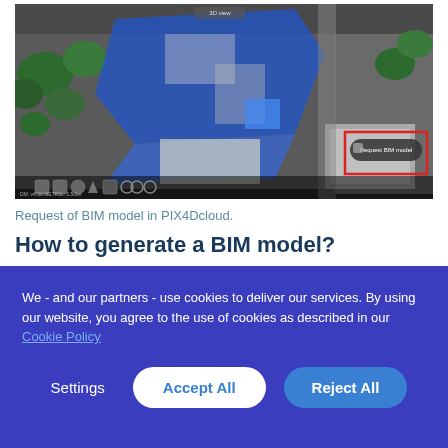[Figure (screenshot): Screenshot of PIX4Dcloud interface showing an aerial/3D map view with blue overlay regions on buildings/terrain, and a 'Request BIM model' button highlighted with a red rectangle in the top-right area. Toolbar icons visible at the bottom of the viewer.]
Request of BIM model in PIX4Dcloud.
How to generate a BIM model?
We - and our partners - use cookies to deliver our services. By using our website, you agree to the use of cookies as described in our Cookie Policy